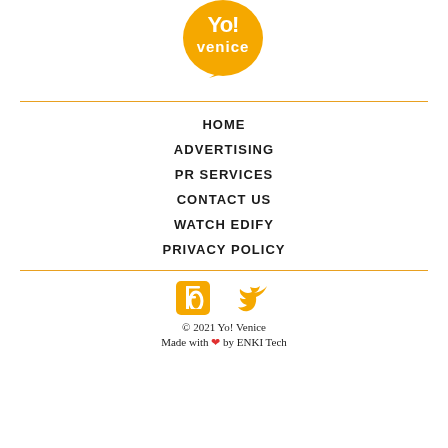[Figure (logo): Yo! Venice orange speech bubble logo with white text]
HOME
ADVERTISING
PR SERVICES
CONTACT US
WATCH EDIFY
PRIVACY POLICY
[Figure (illustration): Facebook and Twitter social media icons in orange]
© 2021 Yo! Venice
Made with ❤ by ENKI Tech